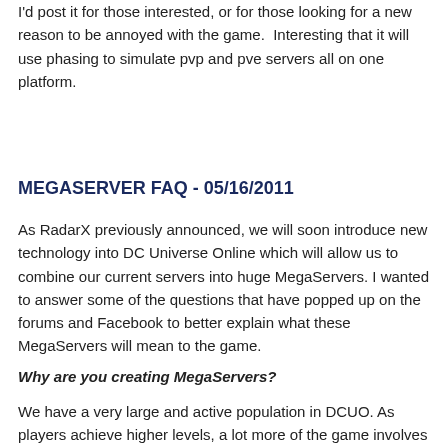I'd post it for those interested, or for those looking for a new reason to be annoyed with the game.  Interesting that it will use phasing to simulate pvp and pve servers all on one platform.
MEGASERVER FAQ - 05/16/2011
As RadarX previously announced, we will soon introduce new technology into DC Universe Online which will allow us to combine our current servers into huge MegaServers. I wanted to answer some of the questions that have popped up on the forums and Facebook to better explain what these MegaServers will mean to the game.
Why are you creating MegaServers?
We have a very large and active population in DCUO. As players achieve higher levels, a lot more of the game involves participating